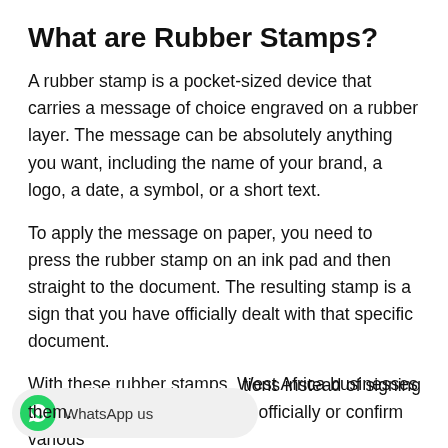What are Rubber Stamps?
A rubber stamp is a pocket-sized device that carries a message of choice engraved on a rubber layer. The message can be absolutely anything you want, including the name of your brand, a logo, a date, a symbol, or a short text.
To apply the message on paper, you need to press the rubber stamp on an ink pad and then straight to the document. The resulting stamp is a sign that you have officially dealt with that specific document.
With these rubber stamps, West Africa businesses approve payment documents officially or confirm various transactions instead of signing them.